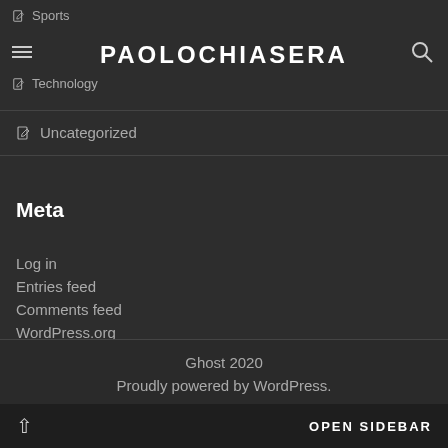PAOLOCHIASERA | Sports | Technology
Uncategorized
Meta
Log in
Entries feed
Comments feed
WordPress.org
Ghost 2020
Proudly powered by WordPress.
OPEN SIDEBAR